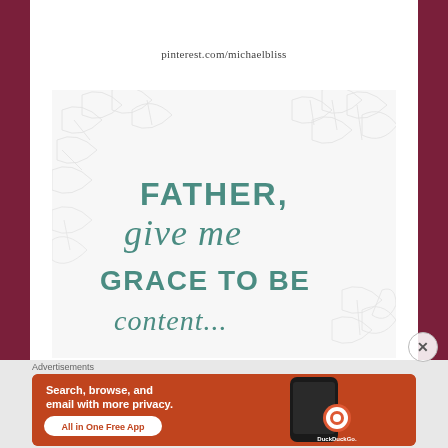pinterest.com/michaelbliss
[Figure (illustration): Decorative prayer quote image with botanical leaf background and hand-lettered text reading 'FATHER, give me GRACE TO BE...' in teal/green lettering on a white background with light grey leaf illustrations]
Advertisements
[Figure (screenshot): DuckDuckGo advertisement banner with orange background showing text 'Search, browse, and email with more privacy. All in One Free App' with DuckDuckGo logo and smartphone image]